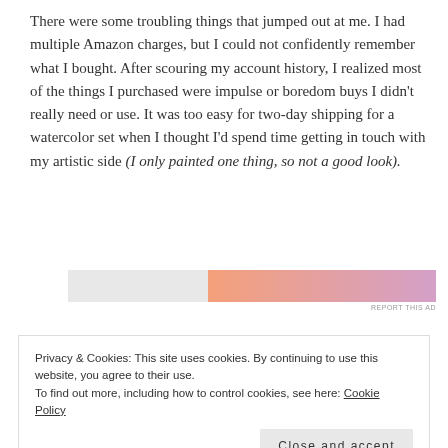There were some troubling things that jumped out at me. I had multiple Amazon charges, but I could not confidently remember what I bought. After scouring my account history, I realized most of the things I purchased were impulse or boredom buys I didn't really need or use. It was too easy for two-day shipping for a watercolor set when I thought I'd spend time getting in touch with my artistic side (I only painted one thing, so not a good look).
[Figure (other): An advertisement banner with a grey section on the left and a gradient orange-to-purple section on the right, with 'REPORT THIS AD' text below.]
Privacy & Cookies: This site uses cookies. By continuing to use this website, you agree to their use.
To find out more, including how to control cookies, see here: Cookie Policy
Close and accept